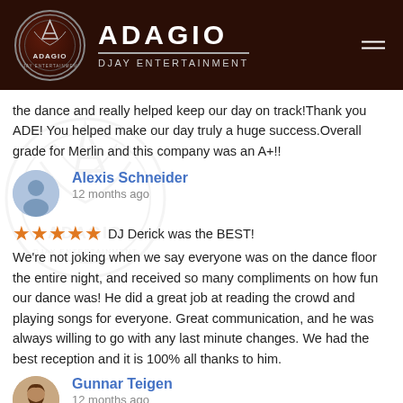[Figure (logo): Adagio DJ Entertainment logo with circular emblem and text]
the dance and really helped keep our day on track!Thank you ADE! You helped make our day truly a huge success.Overall grade for Merlin and this company was an A+!!
Alexis Schneider
12 months ago
DJ Derick was the BEST!We're not joking when we say everyone was on the dance floor the entire night, and received so many compliments on how fun our dance was! He did a great job at reading the crowd and playing songs for everyone. Great communication, and he was always willing to go with any last minute changes. We had the best reception and it is 100% all thanks to him.
Gunnar Teigen
12 months ago